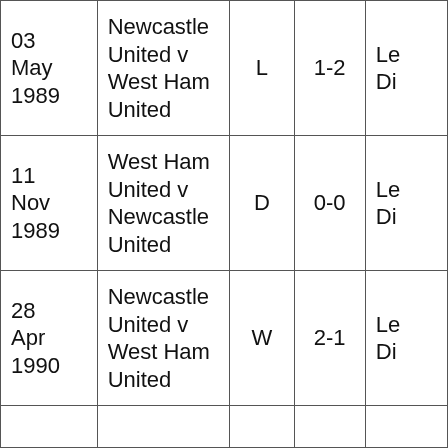| Date | Match | Result | Score | Competition |
| --- | --- | --- | --- | --- |
| 03 May 1989 | Newcastle United v West Ham United | L | 1-2 | Le Di |
| 11 Nov 1989 | West Ham United v Newcastle United | D | 0-0 | Le Di |
| 28 Apr 1990 | Newcastle United v West Ham United | W | 2-1 | Le Di |
|  |  |  |  |  |